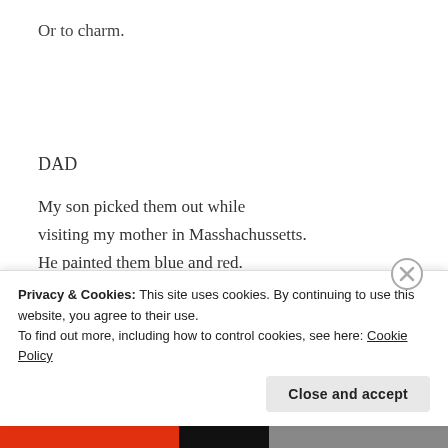Or to charm.
DAD
My son picked them out while visiting my mother in Masshachussetts. He painted them blue and red.
It was father's day weekend
Privacy & Cookies: This site uses cookies. By continuing to use this website, you agree to their use.
To find out more, including how to control cookies, see here: Cookie Policy
Close and accept